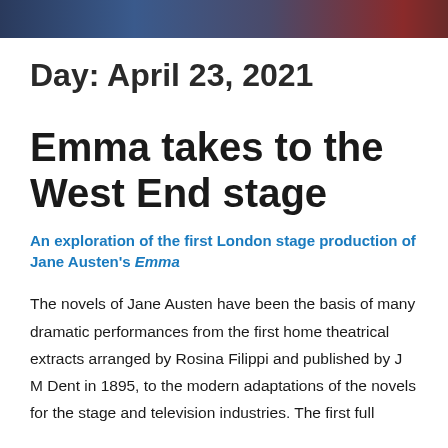[Figure (photo): Header image showing a theatrical or decorative scene with dark blue, navy and red tones]
Day: April 23, 2021
Emma takes to the West End stage
An exploration of the first London stage production of Jane Austen's Emma
The novels of Jane Austen have been the basis of many dramatic performances from the first home theatrical extracts arranged by Rosina Filippi and published by J M Dent in 1895, to the modern adaptations of the novels for the stage and television industries. The first full…